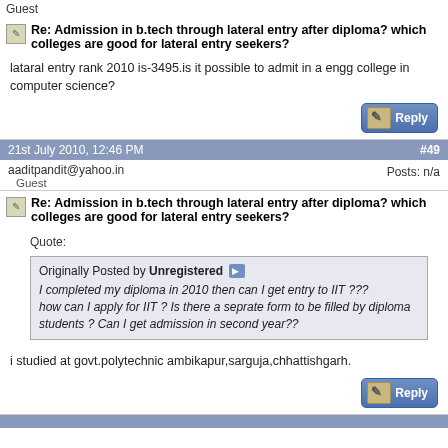Guest
Re: Admission in b.tech through lateral entry after diploma? which colleges are good for lateral entry seekers?
lataral entry rank 2010 is-3495.is it possible to admit in a engg college in computer science?
21st July 2010, 12:46 PM  #49
aaditpandit@yahoo.in   Posts: n/a
Guest
Re: Admission in b.tech through lateral entry after diploma? which colleges are good for lateral entry seekers?
Quote:
Originally Posted by Unregistered
I completed my diploma in 2010 then can I get entry to IIT ???
how can I apply for IIT ? Is there a seprate form to be filled by diploma students ? Can I get admission in second year??
i studied at govt.polytechnic ambikapur,sarguja,chhattishgarh.